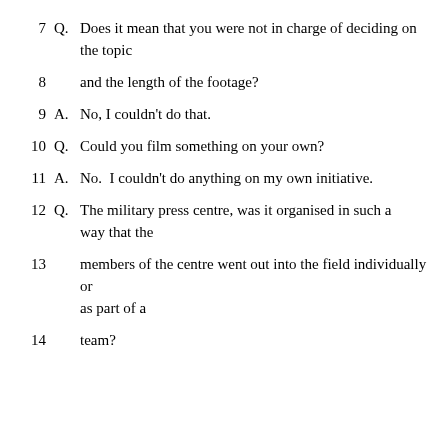7   Q.  Does it mean that you were not in charge of deciding on the topic
8   and the length of the footage?
9   A.  No, I couldn't do that.
10   Q.  Could you film something on your own?
11   A.  No.  I couldn't do anything on my own initiative.
12   Q.  The military press centre, was it organised in such a way that the
13   members of the centre went out into the field individually or as part of a
14   team?